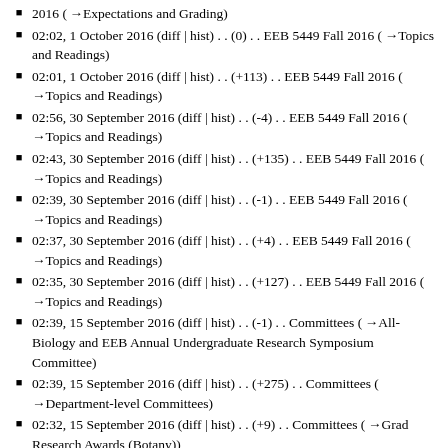2016  (→Expectations and Grading)
02:02, 1 October 2016 (diff | hist) . . (0) . . EEB 5449 Fall 2016  (→Topics and Readings)
02:01, 1 October 2016 (diff | hist) . . (+113) . . EEB 5449 Fall 2016  (→Topics and Readings)
02:56, 30 September 2016 (diff | hist) . . (-4) . . EEB 5449 Fall 2016  (→Topics and Readings)
02:43, 30 September 2016 (diff | hist) . . (+135) . . EEB 5449 Fall 2016  (→Topics and Readings)
02:39, 30 September 2016 (diff | hist) . . (-1) . . EEB 5449 Fall 2016  (→Topics and Readings)
02:37, 30 September 2016 (diff | hist) . . (+4) . . EEB 5449 Fall 2016  (→Topics and Readings)
02:35, 30 September 2016 (diff | hist) . . (+127) . . EEB 5449 Fall 2016  (→Topics and Readings)
02:39, 15 September 2016 (diff | hist) . . (-1) . . Committees  (→All-Biology and EEB Annual Undergraduate Research Symposium Committee)
02:39, 15 September 2016 (diff | hist) . . (+275) . . Committees  (→Department-level Committees)
02:32, 15 September 2016 (diff | hist) . . (+9) . . Committees  (→Grad Research Awards (Botany))
02:31, 15 September 2016 (diff | hist) . . (+9) . . Committees  (→EEB Graduate Student Handbook)
02:29, 15 September 2016 (diff | hist) . . (+9) . . Committees